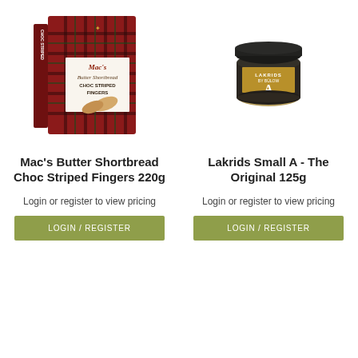[Figure (illustration): Mac's Butter Shortbread Choc Striped Fingers 220g product box with red tartan pattern and shortbread fingers image]
Mac's Butter Shortbread Choc Striped Fingers 220g
Login or register to view pricing
LOGIN / REGISTER
[Figure (illustration): Lakrids by Bulow Small A licorice jar with dark lid and gold label]
Lakrids Small A - The Original 125g
Login or register to view pricing
LOGIN / REGISTER